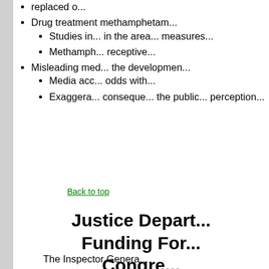replaced o...
Drug treatment methamphetam...
Studies in... in the area... measures...
Methamph... receptive...
Misleading med... the developmen...
Media acc... odds with...
Exaggera... conseque... the public... perception...
Back to top
Justice Depart... Funding For... Congre...
The Inspector Genera...